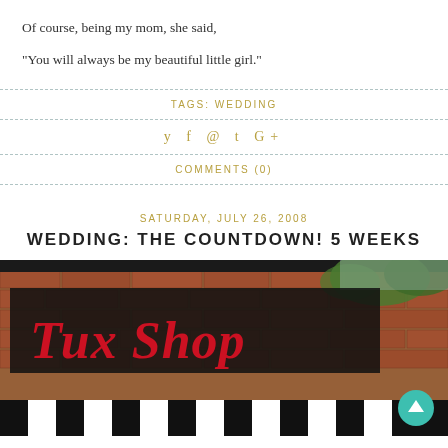Of course, being my mom, she said,
"You will always be my beautiful little girl."
TAGS: WEDDING
[Figure (infographic): Social media share icons: twitter, facebook, pinterest, tumblr, google+]
COMMENTS (0)
SATURDAY, JULY 26, 2008
WEDDING: THE COUNTDOWN! 5 WEEKS
[Figure (photo): Photo of a brick building with a red old-English style sign reading 'Tux Shop', with a black and white striped awning at the bottom and trees visible at top right.]